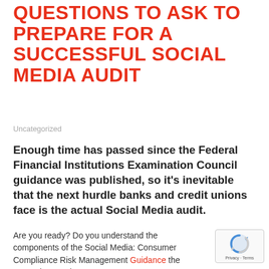QUESTIONS TO ASK TO PREPARE FOR A SUCCESSFUL SOCIAL MEDIA AUDIT
Uncategorized
Enough time has passed since the Federal Financial Institutions Examination Council guidance was published, so it's inevitable that the next hurdle banks and credit unions face is the actual Social Media audit.
Are you ready? Do you understand the components of the Social Media: Consumer Compliance Risk Management Guidance the FFIEC has on the 12 R...